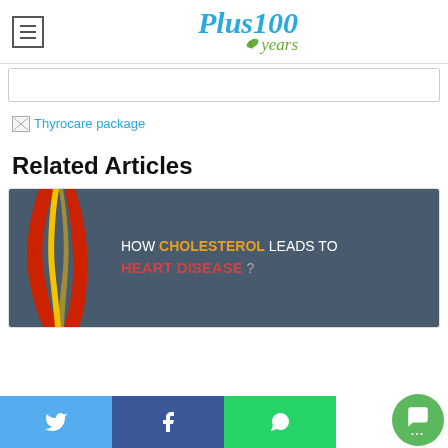Plus100years
[Figure (screenshot): Search box area / ad banner placeholder]
[Figure (other): Broken image link labeled 'Thyrocare package']
Related Articles
[Figure (infographic): Infographic showing 'HOW CHOLESTEROL LEADS TO HEART DISEASE?' with red and yellow artery illustration on dark grey background]
Twitter | Facebook | WhatsApp | Chat